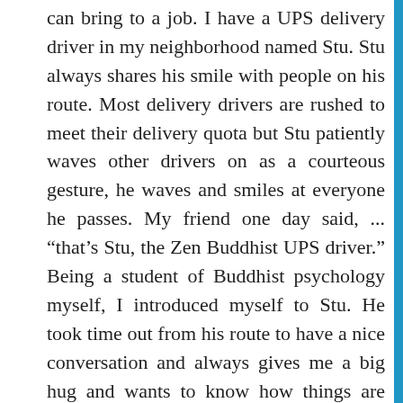can bring to a job. I have a UPS delivery driver in my neighborhood named Stu. Stu always shares his smile with people on his route. Most delivery drivers are rushed to meet their delivery quota but Stu patiently waves other drivers on as a courteous gesture, he waves and smiles at everyone he passes. My friend one day said, ... “that’s Stu, the Zen Buddhist UPS driver.” Being a student of Buddhist psychology myself, I introduced myself to Stu. He took time out from his route to have a nice conversation and always gives me a big hug and wants to know how things are going in my life. He is about 6’7” so that is a big hug. I began to realize that it wasn’t Stu’s job that was offering so much but Stu brings so much to his job. He spreads love and kindness